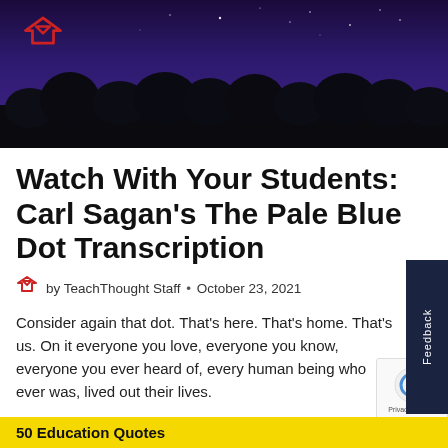[Figure (photo): Night sky with stars and silhouetted tree line, dark blue/purple sky. TeachThought logo (red/dark diamond shape) visible top left.]
Watch With Your Students: Carl Sagan’s The Pale Blue Dot Transcription
by TeachThought Staff • October 23, 2021
Consider again that dot. That’s here. That’s home. That’s us. On it everyone you love, everyone you know, everyone you ever heard of, every human being who ever was, lived out their lives.
50 Education Quotes